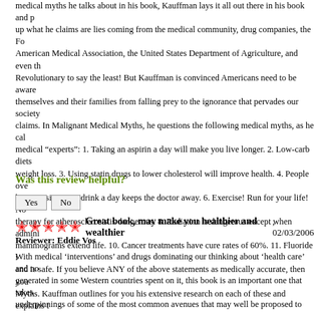medical myths he talks about in his book, Kauffman lays it all out there in his book and backs up what he claims are lies coming from the medical community, drug companies, the Food American Medical Association, the United States Department of Agriculture, and even the Revolutionary to say the least! But Kauffman is convinced Americans need to be aware of themselves and their families from falling prey to the ignorance that pervades our society claims. In Malignant Medical Myths, he questions the following medical myths, as he calls medical "experts": 1. Taking an aspirin a day will make you live longer. 2. Low-carb diets weight loss. 3. Using statin drugs to lower cholesterol will improve health. 4. People over hypertension. 5. A drink a day keeps the doctor away. 6. Exercise! Run for your life! No p therapy for atherosclerosis is dangerous. 8. Radiation is dangerous except when admini mammograms extend life. 10. Cancer treatments have cure rates of 60%. 11. Fluoride in and is safe. If you believe ANY of the above statements as medically accurate, then you Myths. Kauffman outlines for you his extensive research on each of these and explains t studies and information so you can be armed for battle when you come up against these are several appendices in the back of the book that include additional resources for you these medical myths along with some more in-depth information comparing the low-carb enjoyed reading Kauffman's analysis of the various plans) as well as the chemical make amazed by what you learn from this book. So the next time you're flipping through those white coat who looks like a doctor making a claim, you might want to reference Malignan doctor is selling you a bag of goods or not. THANK YOU, Dr. Kauffman, for sharing this It's high time the medical community stops monopolizing the medical information they wa their own special interests. Malignant Medical Myths is hopefully just the beginning of the
Was this review helpful?
Yes   No
[Figure (other): Five red star rating icons]
Great book, may make you healthier and wealthier , 02/03/2006
Reviewer: Eddie Vos
With medical 'interventions' and drugs dominating our thinking about 'health care' and no generated in some Western countries spent on it, this book is an important one that takes underpinnings of some of the most common avenues that may well be proposed to you on aspirin, cholesterol or blood pressure drugs or are facing chemotherapy, this book wi need to help you make your own informed choices and to educate your doctor as well. W prostate testing or fluoride in your water are established health benefits, this book is for y Dr. Kauffman is from that old scientific school where data and studies must be examined words of the drug-representative educated medical world, or from those in the business